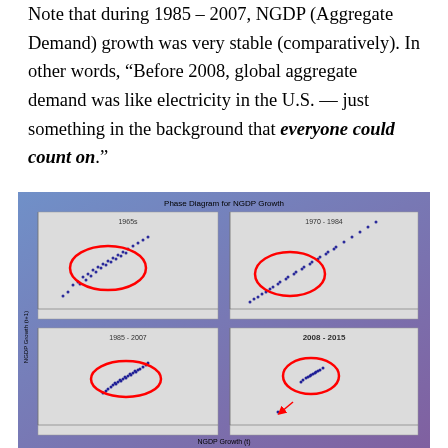Note that during 1985 – 2007, NGDP (Aggregate Demand) growth was very stable (comparatively). In other words, "Before 2008, global aggregate demand was like electricity in the U.S. — just something in the background that everyone could count on."
[Figure (continuous-plot): Phase Diagram for NGDP Growth showing four scatter plots for four time periods: 1965s, 1970-1984, 1985-2007, and 2008-2015. Each subplot has a red ellipse highlighting a cluster of data points. The 2008-2015 panel has a red arrow pointing to an outlier. X-axis labeled NGDP Growth (t), Y-axis labeled NGDP Growth (t+1).]